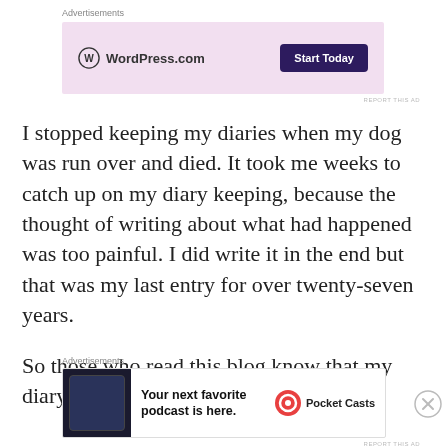[Figure (screenshot): WordPress.com advertisement banner with pink background, WordPress logo on left and 'Start Today' dark purple button on right]
I stopped keeping my diaries when my dog was run over and died. It took me weeks to catch up on my diary keeping, because the thought of writing about what had happened was too painful. I did write it in the end but that was my last entry for over twenty-seven years.
So those who read this blog know that my diary
[Figure (screenshot): Pocket Casts advertisement: 'Your next favorite podcast is here.' with app screenshot on left and Pocket Casts logo on right]